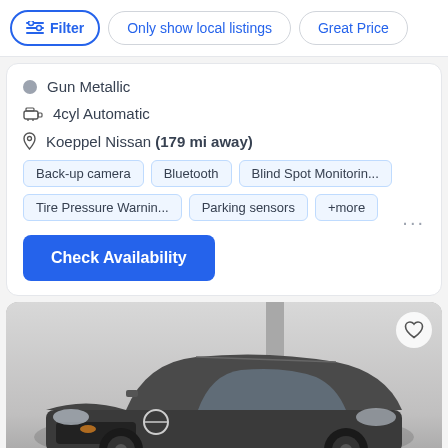Filter | Only show local listings | Great Price
Gun Metallic
4cyl Automatic
Koeppel Nissan (179 mi away)
Back-up camera
Bluetooth
Blind Spot Monitorin...
Tire Pressure Warnin...
Parking sensors
+more
Check Availability
[Figure (photo): Dark gray Nissan Kicks SUV front 3/4 view in a parking garage setting]